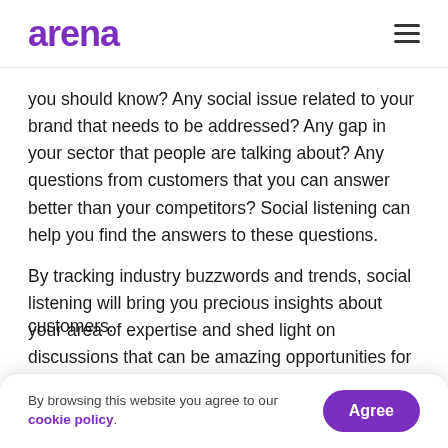arena
you should know? Any social issue related to your brand that needs to be addressed? Any gap in your sector that people are talking about? Any questions from customers that you can answer better than your competitors? Social listening can help you find the answers to these questions.
By tracking industry buzzwords and trends, social listening will bring you precious insights about your area of expertise and shed light on discussions that can be amazing opportunities for your brand. That is an efficient way to keep a hear out for market trends,
customers.
By browsing this website you agree to our cookie policy.